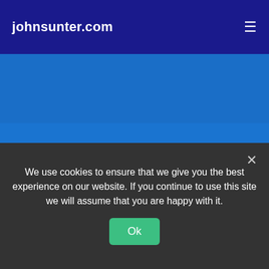johnsunter.com
[Figure (screenshot): Blue website banner/slider area with darker blue top section]
[Figure (illustration): Orange circular next/arrow button on blue background]
Twitter Feed
[Figure (screenshot): Twitter feed widget with white rounded input/search box on blue background]
We use cookies to ensure that we give you the best experience on our website. If you continue to use this site we will assume that you are happy with it.
Ok